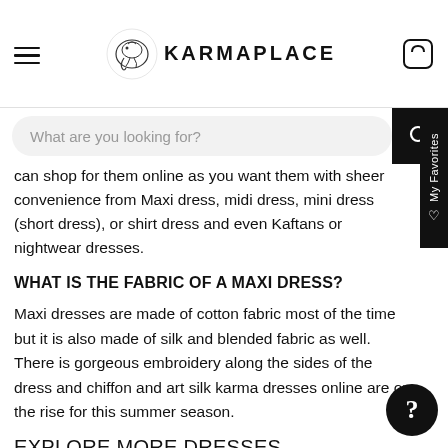KARMAPLACE
What are you looking for?
can shop for them online as you want them with sheer convenience from Maxi dress, midi dress, mini dress (short dress), or shirt dress and even Kaftans or nightwear dresses.
WHAT IS THE FABRIC OF A MAXI DRESS?
Maxi dresses are made of cotton fabric most of the time but it is also made of silk and blended fabric as well. There is gorgeous embroidery along the sides of the dress and chiffon and art silk karma dresses online are on the rise for this summer season.
EXPLORE MORE DRESSES COLLECTION:-